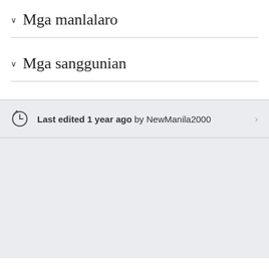Mga manlalaro
Mga sanggunian
Last edited 1 year ago by NewManila2000